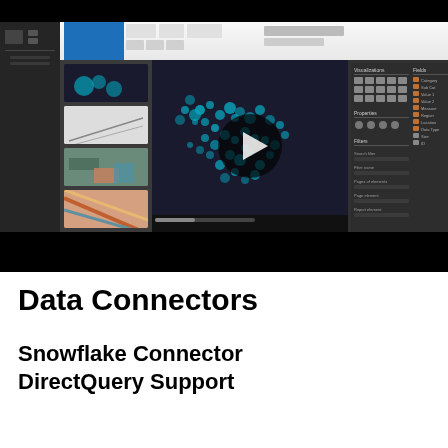[Figure (screenshot): Screenshot of a data visualization software (Power BI or similar) showing a dark-themed map with cyan/teal dot clusters, a play button overlay in the center, a left navigation panel with thumbnail previews, and a right-side visualization/fields panel. A black taskbar is visible at the bottom. The entire screenshot is surrounded by black bars at top and bottom.]
Data Connectors
Snowflake Connector DirectQuery Support